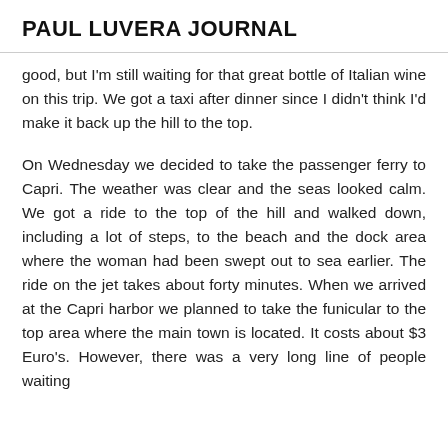PAUL LUVERA JOURNAL
good, but I'm still waiting for that great bottle of Italian wine on this trip. We got a taxi after dinner since I didn't think I'd make it back up the hill to the top.
On Wednesday we decided to take the passenger ferry to Capri. The weather was clear and the seas looked calm. We got a ride to the top of the hill and walked down, including a lot of steps, to the beach and the dock area where the woman had been swept out to sea earlier. The ride on the jet takes about forty minutes. When we arrived at the Capri harbor we planned to take the funicular to the top area where the main town is located. It costs about $3 Euro's. However, there was a very long line of people waiting